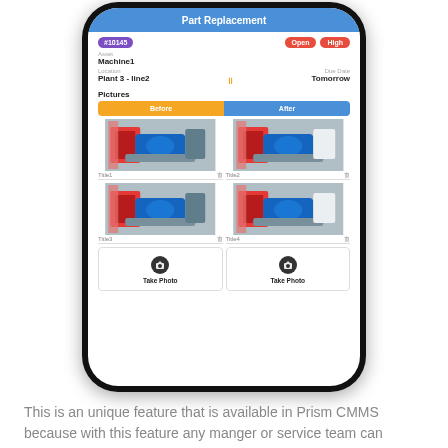[Figure (screenshot): Mobile app screenshot showing a 'Part Replacement' work order screen with ID #10145, status Open and High priority, asset Machine1 at Plant 3 - line2, due Tomorrow, a Pictures section with Before/After tabs and four industrial machine photos labeled Title1-Title4, and two 'Take Photo' buttons.]
This is an unique feature that is available in Prism CMMS because with this feature any manger or service team can